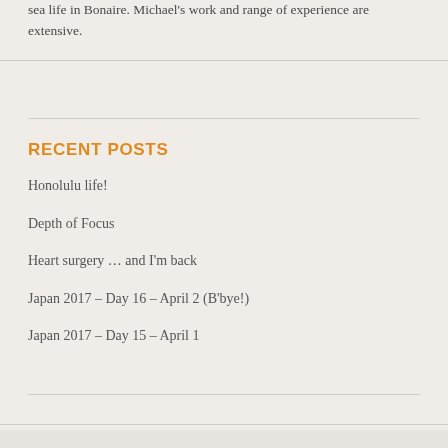sea life in Bonaire. Michael's work and range of experience are extensive.
RECENT POSTS
Honolulu life!
Depth of Focus
Heart surgery … and I'm back
Japan 2017 – Day 16 – April 2 (B'bye!)
Japan 2017 – Day 15 – April 1